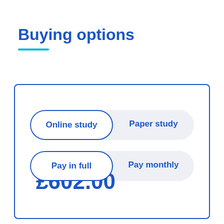Buying options
Online study
Paper study
Pay in full
Pay monthly
£602.00